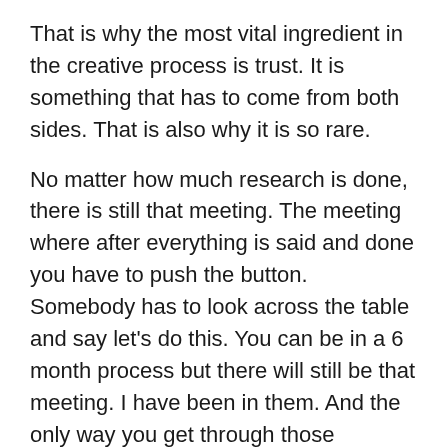That is why the most vital ingredient in the creative process is trust. It is something that has to come from both sides. That is also why it is so rare.
No matter how much research is done, there is still that meeting. The meeting where after everything is said and done you have to push the button. Somebody has to look across the table and say let’s do this. You can be in a 6 month process but there will still be that meeting. I have been in them. And the only way you get through those meetings is trust.
Trust, is a word that is often used in our business but not always practiced. I have seen what trust can do. The boundaries are pushed and the work gets better. And the work gets better because trust has allowed you to go further. That freedom will create better thinking and ideas.